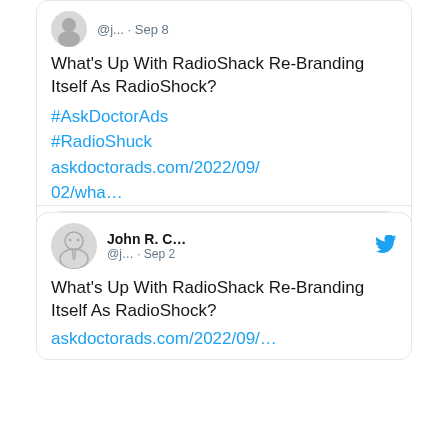[Figure (screenshot): Tweet card 1 (partial top): User avatar and handle @j... · Sep 8, tweet text 'What's Up With RadioShack Re-Branding Itself As RadioShock? #AskDoctorAds #RadioShuck askdoctorads.com/2022/09/02/wha...' with link preview card showing illustration of man in suit, and comment/like action icons.]
[Figure (screenshot): Tweet card 2 (full): John R. C... @j... · Sep 2, tweet text 'What's Up With RadioShack Re-Branding Itself As RadioShock?' with link askdoctorads.com/2022/09/...]